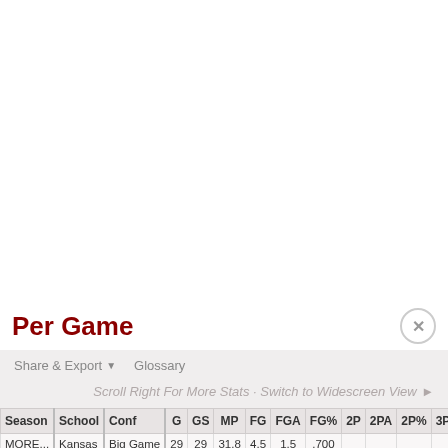Per Game
Share & Export ▼   Glossary
Scroll Right For More Stats · Switch to Widescreen View ►
| Season | School | Conf | G | GS | MP | FG | FGA | FG% | 2P | 2PA | 2P% | 3P | 3PA |
| --- | --- | --- | --- | --- | --- | --- | --- | --- | --- | --- | --- | --- | --- |
| MORE... | Kansas | Big Game | 29 | 29 | 31.8 | 4.5 | 1.5 | .700 |  |  |  |  |  |